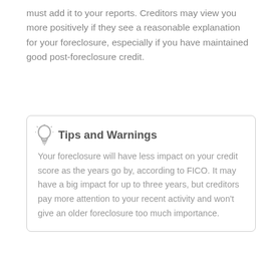must add it to your reports. Creditors may view you more positively if they see a reasonable explanation for your foreclosure, especially if you have maintained good post-foreclosure credit.
Tips and Warnings
Your foreclosure will have less impact on your credit score as the years go by, according to FICO. It may have a big impact for up to three years, but creditors pay more attention to your recent activity and won't give an older foreclosure too much importance.
References
DebtHelp.com: Recovering After Foreclosure
GetPreQualified.com: Restoring My Good Credit Rating After a Foreclosure